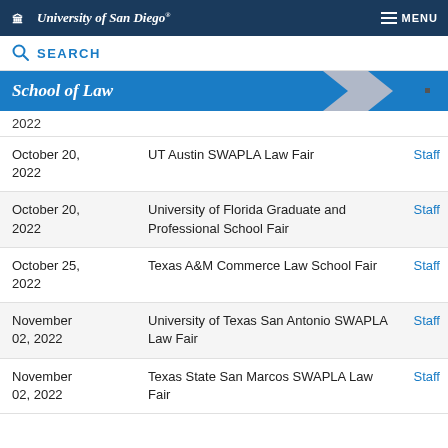University of San Diego — MENU
SEARCH
School of Law
2022
| Date | Event |  |
| --- | --- | --- |
| October 20, 2022 | UT Austin SWAPLA Law Fair | Staff |
| October 20, 2022 | University of Florida Graduate and Professional School Fair | Staff |
| October 25, 2022 | Texas A&M Commerce Law School Fair | Staff |
| November 02, 2022 | University of Texas San Antonio SWAPLA Law Fair | Staff |
| November 02, 2022 | Texas State San Marcos SWAPLA Law Fair | Staff |